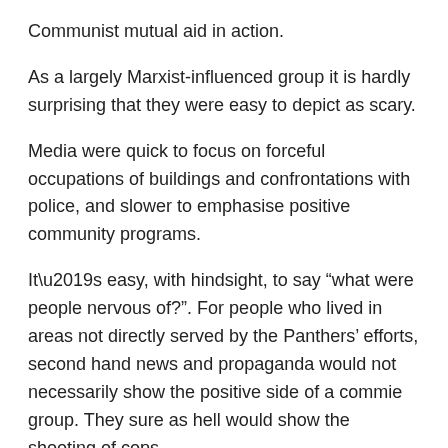Communist mutual aid in action.
As a largely Marxist-influenced group it is hardly surprising that they were easy to depict as scary.
Media were quick to focus on forceful occupations of buildings and confrontations with police, and slower to emphasise positive community programs.
It’s easy, with hindsight, to say “what were people nervous of?”. For people who lived in areas not directly served by the Panthers’ efforts, second hand news and propaganda would not necessarily show the positive side of a commie group. They sure as hell would show the shooting of cops.